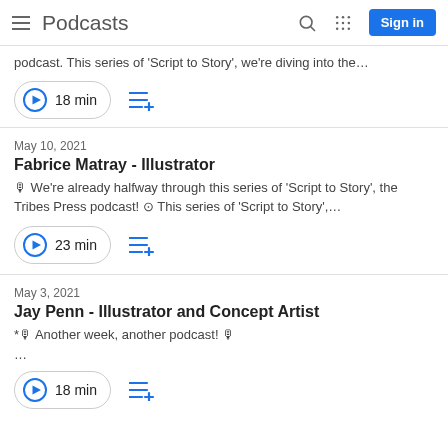Podcasts
podcast. This series of 'Script to Story', we're diving into the…
18 min
May 10, 2021
Fabrice Matray - Illustrator
🎙 We're already halfway through this series of 'Script to Story', the Tribes Press podcast! ⊙ This series of 'Script to Story',...
23 min
May 3, 2021
Jay Penn - Illustrator and Concept Artist
*🎙 Another week, another podcast! 🎙
...
18 min